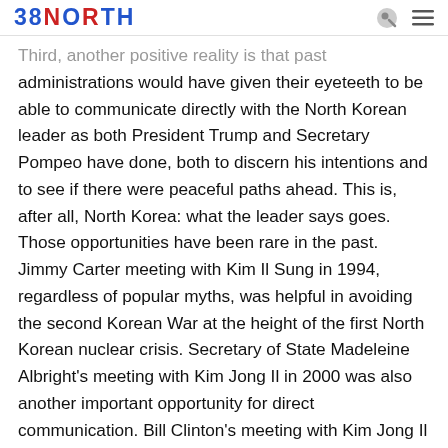38NORTH
Third, another positive reality is that past administrations would have given their eyeteeth to be able to communicate directly with the North Korean leader as both President Trump and Secretary Pompeo have done, both to discern his intentions and to see if there were peaceful paths ahead. This is, after all, North Korea: what the leader says goes. Those opportunities have been rare in the past. Jimmy Carter meeting with Kim Il Sung in 1994, regardless of popular myths, was helpful in avoiding the second Korean War at the height of the first North Korean nuclear crisis. Secretary of State Madeleine Albright's meeting with Kim Jong Il in 2000 was also another important opportunity for direct communication. Bill Clinton's meeting with Kim Jong Il in 2009 was much more circumscribed because of the circumstances. He went to retrieve two American journalists detained by the North. Nevertheless, he concluded from his meeting that there might be an